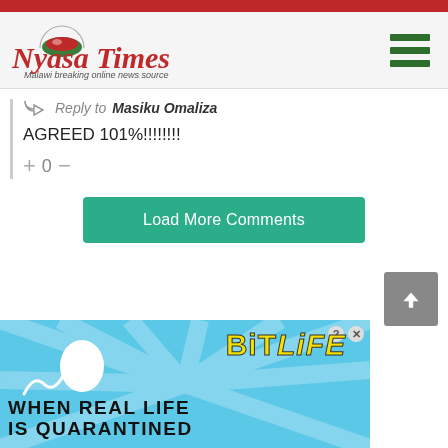Nyasa Times — Malawi breaking online news source
Reply to Masiku Omaliza
AGREED 101%!!!!!!!!
+ 0 –
Load More Comments
[Figure (other): Back to top arrow button (grey square with upward chevron)]
[Figure (other): BitLife advertisement banner: light blue background with sun rays, sperm graphic, BitLife yellow logo text, text reading WHEN REAL LIFE IS QUARANTINED]